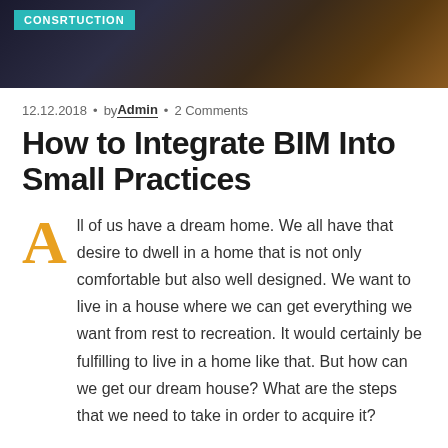[Figure (photo): Dark construction site banner image with orange/amber lighting and scaffolding in background]
CONSRTUCTION
12.12.2018  •  by Admin  •  2 Comments
How to Integrate BIM Into Small Practices
All of us have a dream home. We all have that desire to dwell in a home that is not only comfortable but also well designed. We want to live in a house where we can get everything we want from rest to recreation. It would certainly be fulfilling to live in a home like that. But how can we get our dream house? What are the steps that we need to take in order to acquire it?
Today, we will give you 10 clear steps on what you need